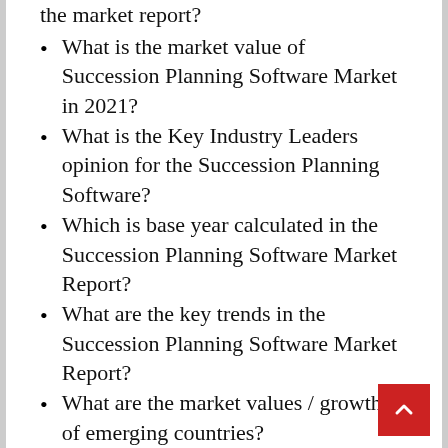the market report?
What is the market value of Succession Planning Software Market in 2021?
What is the Key Industry Leaders opinion for the Succession Planning Software?
Which is base year calculated in the Succession Planning Software Market Report?
What are the key trends in the Succession Planning Software Market Report?
What are the market values / growth % of emerging countries?
Which market holds the maximum market share of the